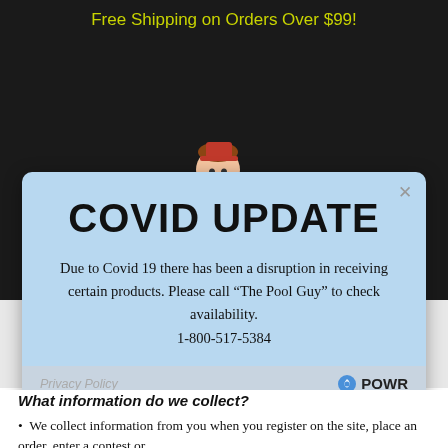Free Shipping on Orders Over $99!
[Figure (illustration): Cartoon mascot of a pool guy in blue shirt with a pool cleaning pole, partially obscured by modal popup]
COVID UPDATE
Due to Covid 19 there has been a disruption in receiving certain products. Please call "The Pool Guy" to check availability.
1-800-517-5384
Privacy Policy
POWR
Popup - Create your own for free!
What information do we collect?
We collect information from you when you register on the site, place an order, enter a contest or